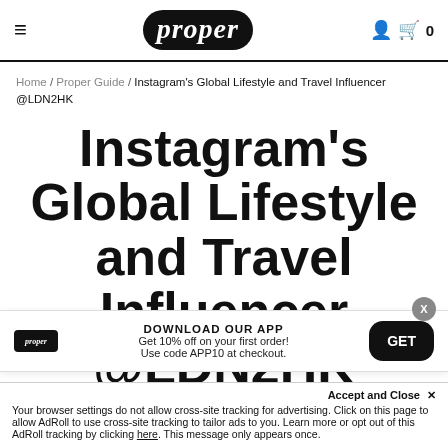≡  proper  🧑 🛒 0
Home / Proper Guide / Instagram's Global Lifestyle and Travel Influencer @LDN2HK
Instagram's Global Lifestyle and Travel Influencer @LDN2HK
DOWNLOAD OUR APP
Get 10% off on your first order!
Use code APP10 at checkout.
Accept and Close ✕
Your browser settings do not allow cross-site tracking for advertising. Click on this page to allow AdRoll to use cross-site tracking to tailor ads to you. Learn more or opt out of this AdRoll tracking by clicking here. This message only appears once.